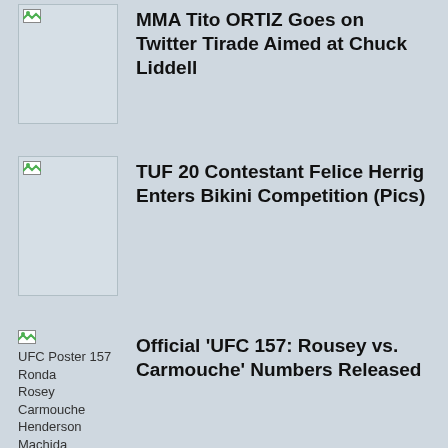[Figure (photo): Broken image placeholder (first item)]
MMA Tito ORTIZ Goes on Twitter Tirade Aimed at Chuck Liddell
[Figure (photo): Broken image placeholder (TUF 20)]
TUF 20 Contestant Felice Herrig Enters Bikini Competition (Pics)
[Figure (photo): UFC Poster 157 Ronda Rosey Carmouche Henderson Machida]
Official ‘UFC 157: Rousey vs. Carmouche’ Numbers Released
[Figure (photo): UFC Junie Browning]
Junie Browning Wanted by Police Following Bar Brawl in Thailand